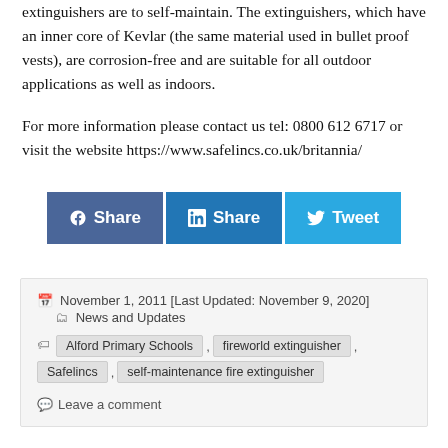extinguishers are to self-maintain. The extinguishers, which have an inner core of Kevlar (the same material used in bullet proof vests), are corrosion-free and are suitable for all outdoor applications as well as indoors.
For more information please contact us tel: 0800 612 6717 or visit the website https://www.safelincs.co.uk/britannia/
[Figure (infographic): Three social sharing buttons: Facebook Share (dark blue), LinkedIn Share (medium blue), Twitter Tweet (light blue)]
November 1, 2011 [Last Updated: November 9, 2020]   News and Updates
Tags: Alford Primary Schools , fireworld extinguisher , Safelincs , self-maintenance fire extinguisher
Leave a comment